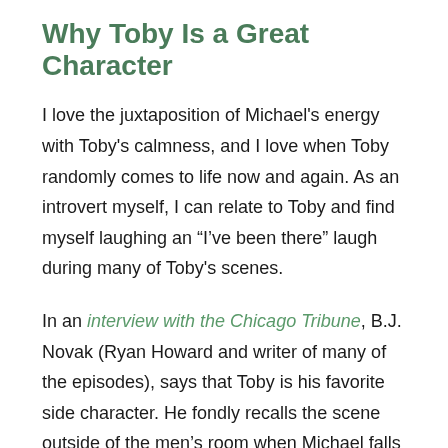Why Toby Is a Great Character
I love the juxtaposition of Michael's energy with Toby's calmness, and I love when Toby randomly comes to life now and again. As an introvert myself, I can relate to Toby and find myself laughing an “I’ve been there” laugh during many of Toby's scenes.
In an interview with the Chicago Tribune, B.J. Novak (Ryan Howard and writer of many of the episodes), says that Toby is his favorite side character. He fondly recalls the scene outside of the men’s room when Michael falls in the